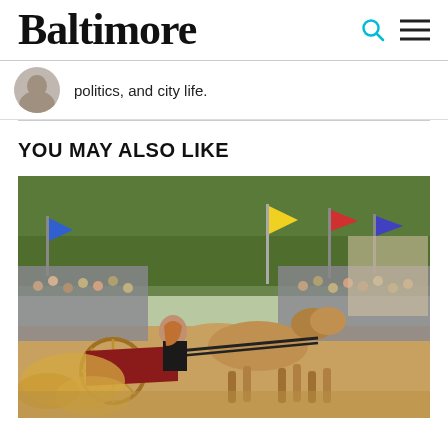Baltimore
politics, and city life.
YOU MAY ALSO LIKE
[Figure (photo): A chariot race scene at what appears to be a Renaissance festival or medieval fair. A person with long hair drives a red chariot pulled by two large brown horses, kicking up dust and sand. A crowd of spectators lines the background, and colorful flags and banners are visible. A yellow flag is prominent in the center background.]